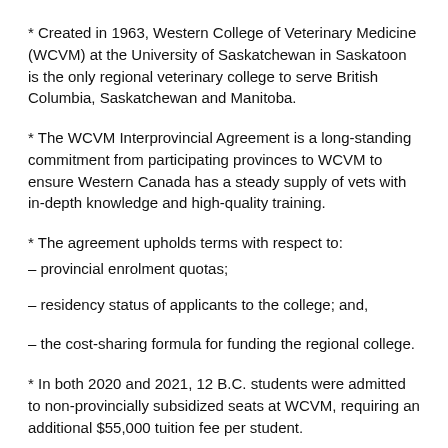* Created in 1963, Western College of Veterinary Medicine (WCVM) at the University of Saskatchewan in Saskatoon is the only regional veterinary college to serve British Columbia, Saskatchewan and Manitoba.
* The WCVM Interprovincial Agreement is a long-standing commitment from participating provinces to WCVM to ensure Western Canada has a steady supply of vets with in-depth knowledge and high-quality training.
* The agreement upholds terms with respect to:
– provincial enrolment quotas;
– residency status of applicants to the college; and,
– the cost-sharing formula for funding the regional college.
* In both 2020 and 2021, 12 B.C. students were admitted to non-provincially subsidized seats at WCVM, requiring an additional $55,000 tuition fee per student.